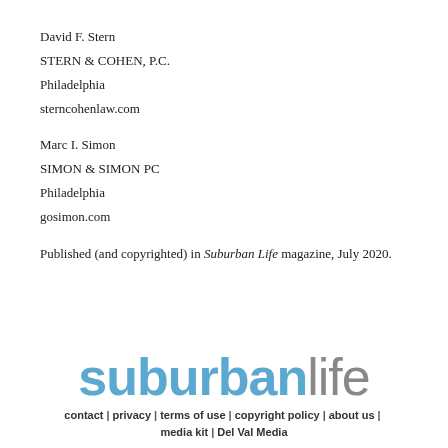David F. Stern
STERN & COHEN, P.C.
Philadelphia
sterncohenlaw.com
Marc I. Simon
SIMON & SIMON PC
Philadelphia
gosimon.com
Published (and copyrighted) in Suburban Life magazine, July 2020.
[Figure (logo): Suburban Life magazine logo with 'suburban' in blue and 'life' in gray]
contact | privacy | terms of use | copyright policy | about us | media kit | Del Val Media